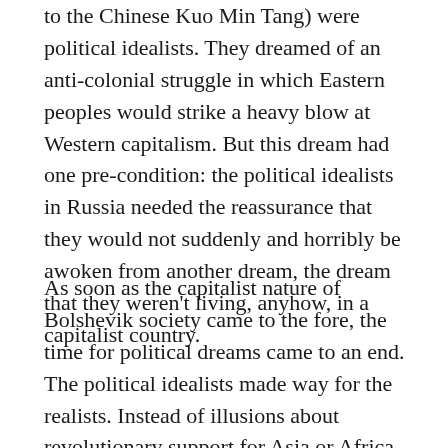( to the Chinese Kuo Min Tang) were political idealists. They dreamed of an anti-colonial struggle in which Eastern peoples would strike a heavy blow at Western capitalism. But this dream had one pre-condition: the political idealists in Russia needed the reassurance that they would not suddenly and horribly be awoken from another dream, the dream that they weren't living, anyhow, in a capitalist country.
As soon as the capitalist nature of Bolshevik society came to the fore, the time for political dreams came to an end. The political idealists made way for the realists. Instead of illusions about revolutionary support for Asia or Africa there came the reality of bestowing favours upon that particular class in Eastern society that tended to slow down the break- through of modern capitalism (with the aid of western imperialism). This